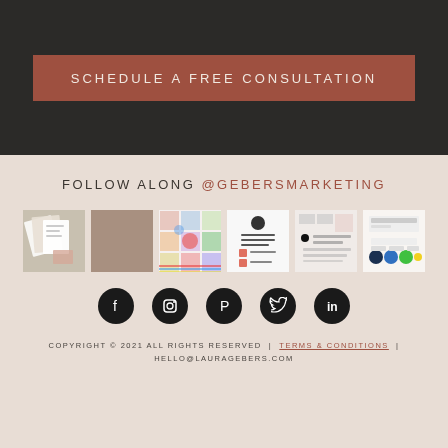SCHEDULE A FREE CONSULTATION
FOLLOW ALONG @GEBERSMARKETING
[Figure (photo): Six Instagram thumbnail images showing marketing content: documents/mockups, a plain brown/taupe square, a colorful grid collage, a white checklist document, a blurred text image about branding, and a color palette image]
[Figure (infographic): Five social media icon circles (Facebook, Instagram, Pinterest, Twitter, LinkedIn) in black with white icons]
COPYRIGHT © 2021 ALL RIGHTS RESERVED | TERMS & CONDITIONS | HELLO@LAURAGEBERS.COM